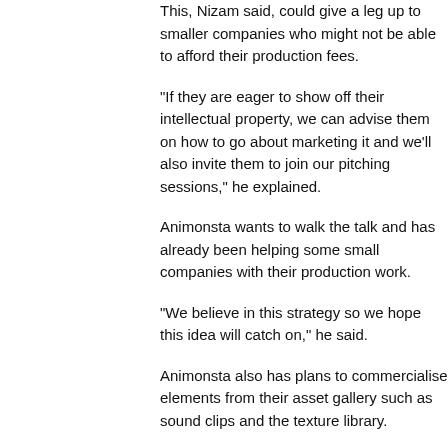This, Nizam said, could give a leg up to smaller companies who might not be able to afford their production fees.
“If they are eager to show off their intellectual property, we can advise them on how to go about marketing it and we’ll also invite them to join our pitching sessions,” he explained.
Animonsta wants to walk the talk and has already been helping some small companies with their production work.
“We believe in this strategy so we hope this idea will catch on,” he said.
Animonsta also has plans to commercialise elements from their asset gallery such as sound clips and the texture library.
“We want to make available the original resources we developed for our productions so others like university graphics students can also benefit from it,” said operations director Kee.
Animonsta views this “help-thy-neighbour” strategy as a way of giving back to the industry and indirectly to the people who helped them make it.